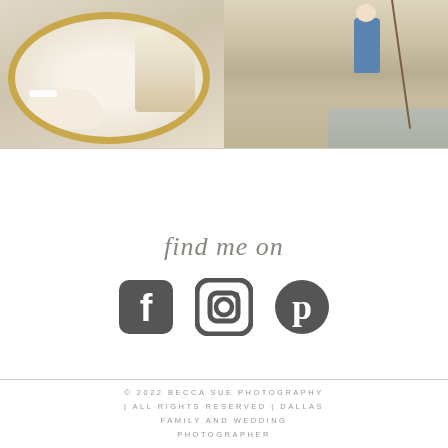[Figure (photo): Two-photo collage: left photo shows a newborn baby with white headband and a toddler in floral clothing inside a round gold-rimmed basket; right photo shows a young child in denim overalls holding a fishing rod near a body of water outdoors.]
find me on
[Figure (infographic): Three social media icons: Facebook, Instagram, Pinterest, displayed in dark gray/charcoal color.]
© 2022 BECCA SUE PHOTOGRAPHY | ALL RIGHTS RESERVED | DALLAS FAMILY AND WEDDING PHOTOGRAPHER